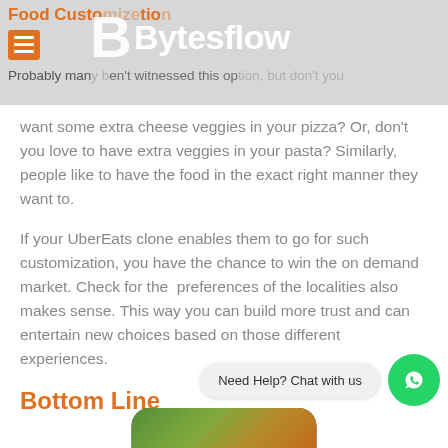Food Customization — Bytesflow | Probably many haven't witnessed this option, but don't you
want some extra cheese veggies in your pizza? Or, don't you love to have extra veggies in your pasta? Similarly, people like to have the food in the exact right manner they want to.
If your UberEats clone enables them to go for such customization, you have the chance to win the on demand market. Check for the preferences of the localities also makes sense. This way you can build more trust and can entertain new choices based on those different experiences.
Bottom Line
[Figure (screenshot): WhatsApp chat button with 'Need Help? Chat with us' bubble and green WhatsApp icon]
[Figure (photo): Partial view of a smartphone displaying food images at the bottom of the page]